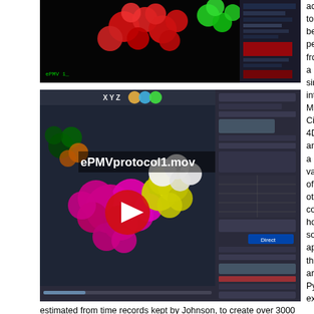[Figure (screenshot): Dark screenshot of molecular visualization software showing red and green ball-and-stick molecule models against a black background, with a control panel interface visible on the right side.]
[Figure (screenshot): Screenshot of ePMV protocol video (ePMVprotocol1.mov) showing a 3D molecular visualization in Cinema 4D or Maya with magenta, yellow, and white sphere molecules against a dark background, with the ePMV interface panel visible on the right, and a YouTube-style red play button overlay in the center.]
activities to be performed from a single interface. Maya, Cinema 4D, and a variety of other commercial hosting software applications that are Python-extensible; models are fully parametric and reversibly editable, allowing other algorithms to interoperate on them. Using this interface as described in figures below
Early protocols, starting in the late 1990s, used dedicated workstations for molecular visualization and required significant post-processing to produce publication-quality files. The dashed lines in the diagram represent the
estimated from time records kept by Johnson, to create over 3000 PDB visualizations since 1998. Straightforward renderings of clean PDB input, like a cartoon backbone for a textbook figure, took as few as 15 minutes from start to finish, while more complex representations often took days to set up and render. With time, the capabilities of dozens of software packages merged and expanded to streamline these protocols and to provide new capabilities that were more accessible to novice users. As shown at the center, however, the interface between these methods remained varied and inconsistent. ePMV, show